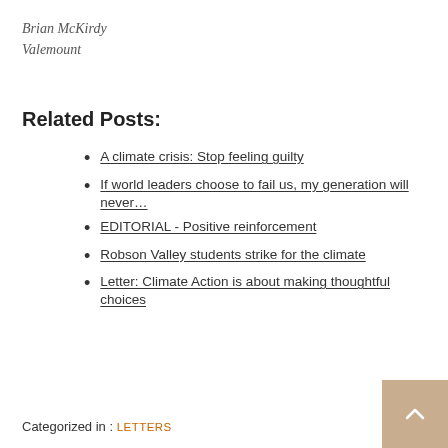Brian McKirdy
Valemount
Related Posts:
A climate crisis: Stop feeling guilty
If world leaders choose to fail us, my generation will never…
EDITORIAL - Positive reinforcement
Robson Valley students strike for the climate
Letter: Climate Action is about making thoughtful choices
Categorized in : LETTERS